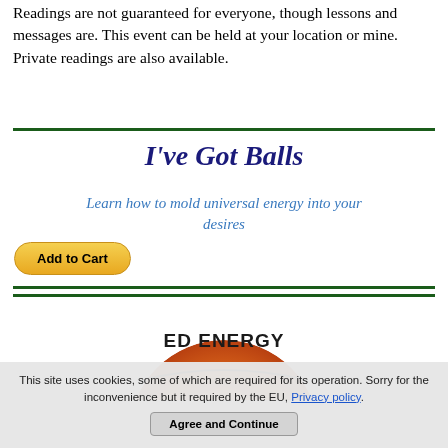Readings are not guaranteed for everyone, though lessons and messages are. This event can be held at your location or mine. Private readings are also available.
[Figure (illustration): A circular logo with orange/yellow gradient background, text reading 'ED ENERGY' visible at the top]
I've Got Balls
Learn how to mold universal energy into your desires
Add to Cart
This site uses cookies, some of which are required for its operation. Sorry for the inconvenience but it required by the EU, Privacy policy. Agree and Continue